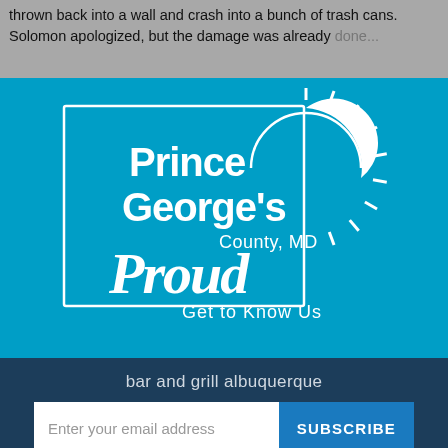thrown back into a wall and crash into a bunch of trash cans. Solomon apologized, but the damage was already done...
[Figure (logo): Prince George's County MD Proud - Get to Know Us logo on blue background]
bar and grill albuquerque
Enter your email address
SUBSCRIBE
No Thanks
Remind Me Later
are obviously all the other characters. NSFW words will be bolded (except for the NSFW alphabet because those are obviously all gonna be NSFW).